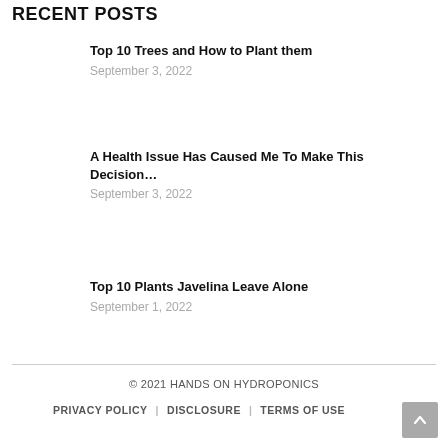RECENT POSTS
Top 10 Trees and How to Plant them
September 3, 2022
A Health Issue Has Caused Me To Make This Decision…
September 3, 2022
Top 10 Plants Javelina Leave Alone
September 1, 2022
© 2021 HANDS ON HYDROPONICS
PRIVACY POLICY | DISCLOSURE | TERMS OF USE